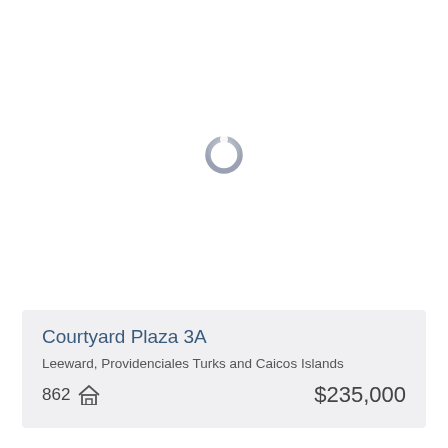[Figure (other): Loading spinner ring icon centered in white image area]
Courtyard Plaza 3A
Leeward, Providenciales Turks and Caicos Islands
862  [house icon]  $235,000